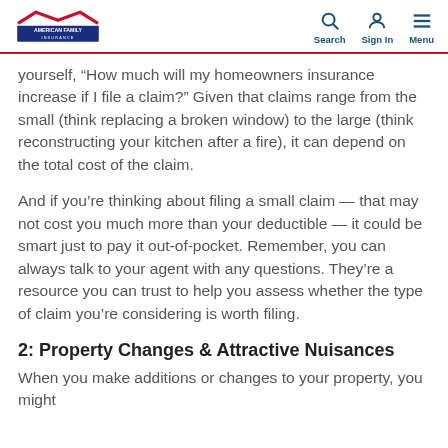American Family Insurance | Search | Sign In | Menu
yourself, “How much will my homeowners insurance increase if I file a claim?” Given that claims range from the small (think replacing a broken window) to the large (think reconstructing your kitchen after a fire), it can depend on the total cost of the claim.
And if you’re thinking about filing a small claim — that may not cost you much more than your deductible — it could be smart just to pay it out-of-pocket. Remember, you can always talk to your agent with any questions. They’re a resource you can trust to help you assess whether the type of claim you’re considering is worth filing.
2: Property Changes & Attractive Nuisances
When you make additions or changes to your property, you might